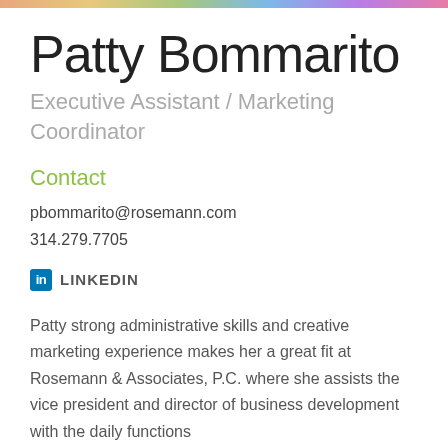[Figure (illustration): Colorful decorative top strip with gradient colors]
Patty Bommarito
Executive Assistant / Marketing Coordinator
Contact
pbommarito@rosemann.com
314.279.7705
LINKEDIN
Patty strong administrative skills and creative marketing experience makes her a great fit at Rosemann & Associates, P.C. where she assists the vice president and director of business development with the daily functions